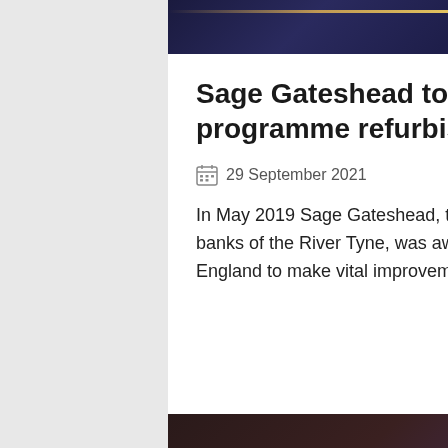[Figure (photo): Dark concert/event image with golden light streaks against deep blue/purple background]
Sage Gateshead to reach more people with capital programme refurbishment
29 September 2021
In May 2019 Sage Gateshead, the international centre for music and events on the banks of the River Tyne, was awarded National Lottery funding through Arts Council England to make vital improveme…
[Figure (photo): Partial image strip at the bottom of the page]